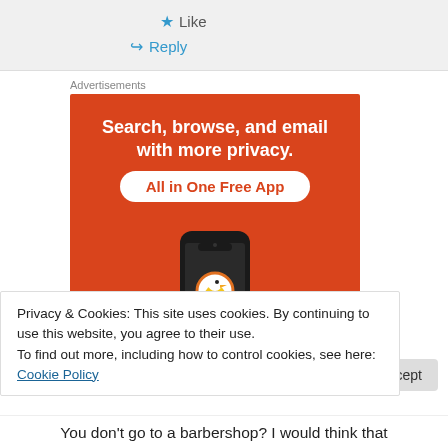★ Like
↪ Reply
Advertisements
[Figure (illustration): DuckDuckGo advertisement banner with orange background. Text reads: 'Search, browse, and email with more privacy. All in One Free App'. Shows a smartphone with DuckDuckGo logo.]
Privacy & Cookies: This site uses cookies. By continuing to use this website, you agree to their use.
To find out more, including how to control cookies, see here: Cookie Policy
Close and accept
You don't go to a barbershop? I would think that